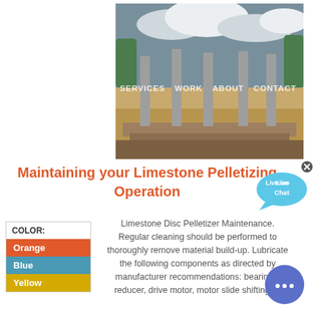[Figure (photo): Construction site with concrete columns and exposed foundation under cloudy sky]
SERVICES  WORK  ABOUT  CONTACT
Maintaining your Limestone Pelletizing Operation
[Figure (other): Live Chat speech bubble widget with blue background]
| COLOR: |
| --- |
| Orange |
| Blue |
| Yellow |
Limestone Disc Pelletizer Maintenance. Regular cleaning should be performed to thoroughly remove material build-up. Lubricate the following components as directed by manufacturer recommendations: bearings, reducer, drive motor, motor slide shifting ...
[Figure (other): Round blue chat/messaging button with ellipsis icon]